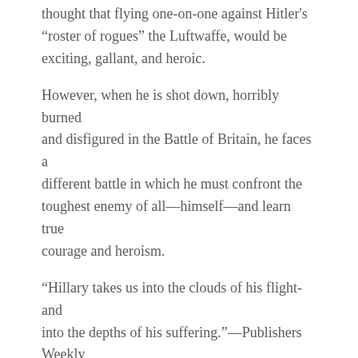thought that flying one-on-one against Hitler’s “roster of rogues” the Luftwaffe, would be exciting, gallant, and heroic.
However, when he is shot down, horribly burned and disfigured in the Battle of Britain, he faces a different battle in which he must confront the toughest enemy of all—himself—and learn true courage and heroism.
“Hillary takes us into the clouds of his flight-and into the depths of his suffering.”—Publishers Weekly
“FEW BOOKS ARE WRITTEN SO WELL OR PACK SUCH AN EMOTIONAL WALLOP.—UPI
More Editorial Reviews
“A small masterpiece” —The New York Times